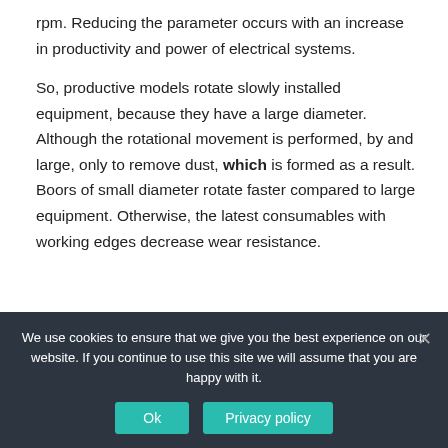rpm. Reducing the parameter occurs with an increase in productivity and power of electrical systems.
So, productive models rotate slowly installed equipment, because they have a large diameter. Although the rotational movement is performed, by and large, only to remove dust, which is formed as a result. Boors of small diameter rotate faster compared to large equipment. Otherwise, the latest consumables with working edges decrease wear resistance.
We use cookies to ensure that we give you the best experience on our website. If you continue to use this site we will assume that you are happy with it.